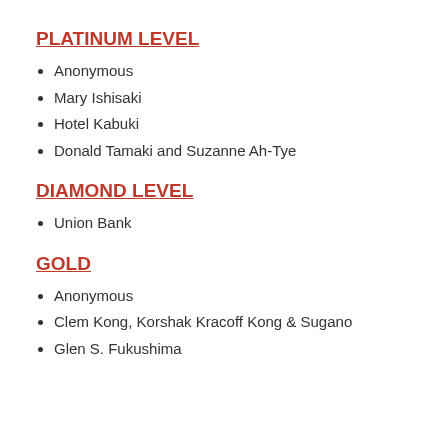PLATINUM LEVEL
Anonymous
Mary Ishisaki
Hotel Kabuki
Donald Tamaki and Suzanne Ah-Tye
DIAMOND LEVEL
Union Bank
GOLD
Anonymous
Clem Kong, Korshak Kracoff Kong & Sugano
Glen S. Fukushima